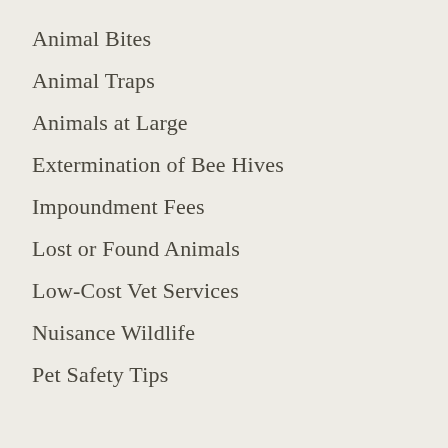Animal Bites
Animal Traps
Animals at Large
Extermination of Bee Hives
Impoundment Fees
Lost or Found Animals
Low-Cost Vet Services
Nuisance Wildlife
Pet Safety Tips